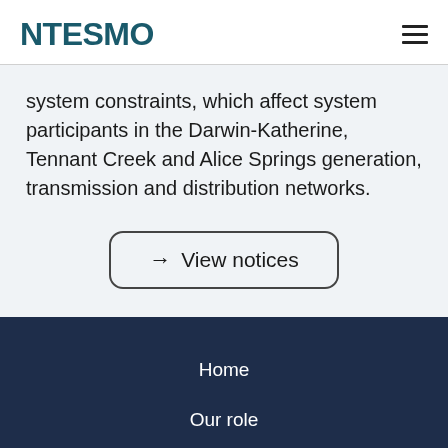NTESMO
system constraints, which affect system participants in the Darwin-Katherine, Tennant Creek and Alice Springs generation, transmission and distribution networks.
→ View notices
Home
Our role
Library